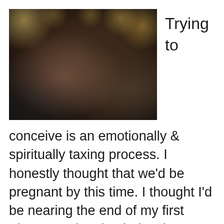[Figure (photo): A smiling couple embracing; a shorter woman with glasses and curly hair hugging a taller man in a suit with a tie and hat, in a festively lit setting.]
Trying to
conceive is an emotionally & spiritually taxing process. I honestly thought that we'd be pregnant by this time. I thought I'd be nearing the end of my first trimester, planning baby showers and shopping Black Friday for baby related sales. It didn't seem this difficult the first time. Over the last couple of months we